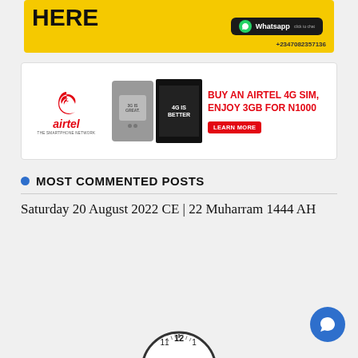[Figure (illustration): WhatsApp advertisement banner with yellow background, cartoon character, 'HERE' text, WhatsApp logo, and phone number +2347082357136]
[Figure (illustration): Airtel advertisement: Airtel logo on left, old TV vs new 4G TV comparison in center, 'BUY AN AIRTEL 4G SIM, ENJOY 3GB FOR N1000' promotional text on right with LEARN MORE button]
MOST COMMENTED POSTS
Saturday 20 August 2022 CE | 22 Muharram 1444 AH
[Figure (illustration): Partial clock face showing numbers 11, 12, 1 at the top, cut off at bottom of page]
[Figure (illustration): Blue circular chat bubble button in bottom right corner]